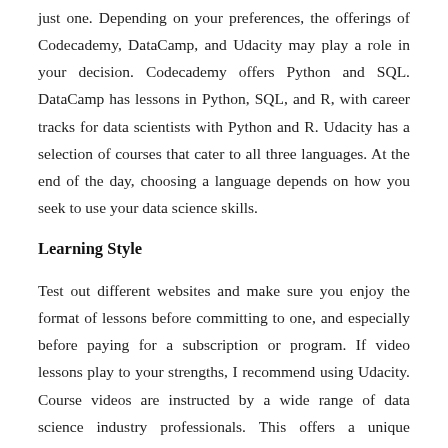just one. Depending on your preferences, the offerings of Codecademy, DataCamp, and Udacity may play a role in your decision. Codecademy offers Python and SQL. DataCamp has lessons in Python, SQL, and R, with career tracks for data scientists with Python and R. Udacity has a selection of courses that cater to all three languages. At the end of the day, choosing a language depends on how you seek to use your data science skills.
Learning Style
Test out different websites and make sure you enjoy the format of lessons before committing to one, and especially before paying for a subscription or program. If video lessons play to your strengths, I recommend using Udacity. Course videos are instructed by a wide range of data science industry professionals. This offers a unique perspective as to how people use data science in specific career areas.